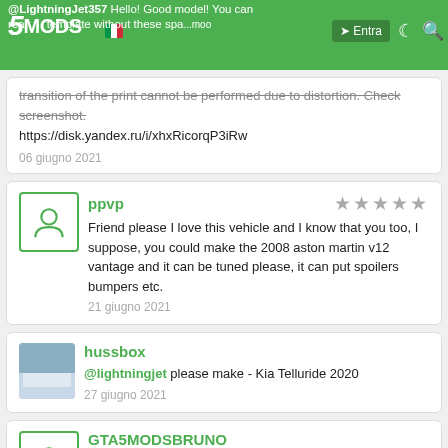5MODS | @LightningJet357 Hello! Good model! You can read a template without these spa... | Entra
transition of the print cannot be performed due to distortion. Check screenshot.
https://disk.yandex.ru/i/xhxRicorqP3iRw
06 giugno 2021
ppvp
Friend please I love this vehicle and I know that you too, I suppose, you could make the 2008 aston martin v12 vantage and it can be tuned please, it can put spoilers bumpers etc.
21 giugno 2021
hussbox
@lightningjet please make - Kia Telluride 2020
27 giugno 2021
GTA5MODSBRUNO
Hello, I add it as an addon but when I type mach1 it